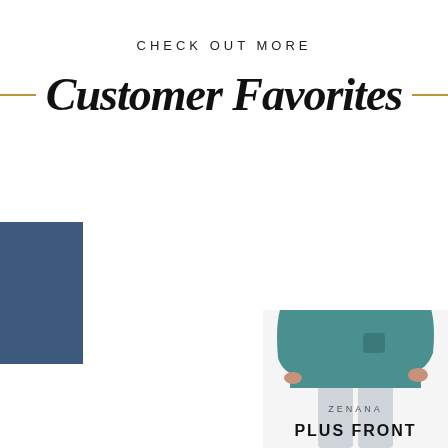CHECK OUT MORE
Customer Favorites
[Figure (photo): Blue square decorative rectangle on the left side]
[Figure (photo): Woman wearing a teal long-sleeve V-neck top, plus size product photo for Zenana brand]
ZENANA
PLUS FRONT